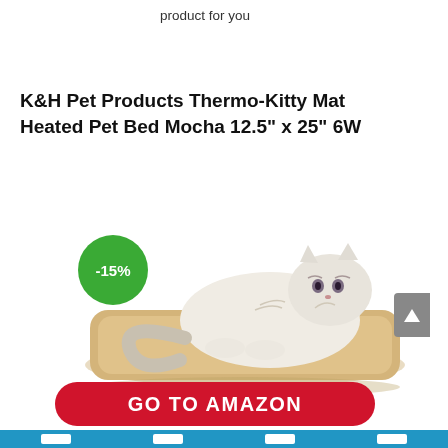product for you
K&H Pet Products Thermo-Kitty Mat Heated Pet Bed Mocha 12.5" x 25" 6W
[Figure (photo): A white/grey fluffy cat lying on a tan heated pet mat. A green circle badge showing -15% discount is overlaid in the upper-left corner of the image.]
GO TO AMAZON